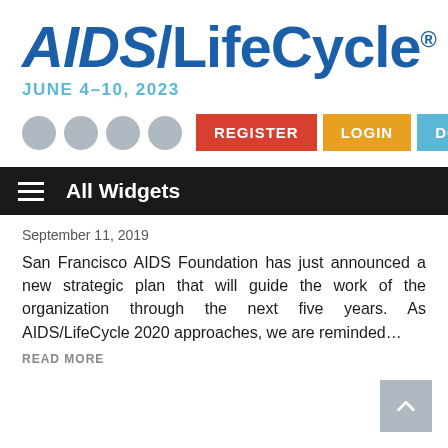[Figure (logo): AIDS/LifeCycle logo in bold blue italic font with registered trademark symbol]
JUNE 4-10, 2023
[Figure (infographic): Navigation bar with four gray dots and three buttons: REGISTER (red), LOGIN (orange), DONATE (light blue)]
All Widgets
September 11, 2019
San Francisco AIDS Foundation has just announced a new strategic plan that will guide the work of the organization through the next five years. As AIDS/LifeCycle 2020 approaches, we are reminded...
READ MORE